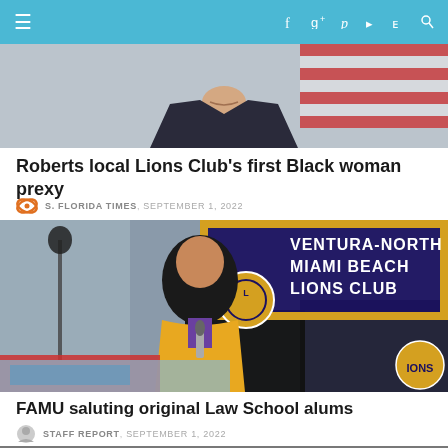Navigation bar with hamburger menu, social icons: Facebook, Google+, Pinterest, RSS, Twitter, Search
[Figure (photo): Partial photo of a person in suit, cropped at chin level, near an American flag]
Roberts local Lions Club's first Black woman prexy
S. FLORIDA TIMES, SEPTEMBER 1, 2022
[Figure (photo): Woman in yellow jacket speaking at a podium with a microphone, Lions Club banner visible behind her reading VENTURA-NORTH MIAMI BEACH LIONS CLUB]
FAMU saluting original Law School alums
STAFF REPORT, SEPTEMBER 1, 2022
[Figure (photo): Black and white photo of graduates in caps and gowns, partially visible at bottom of page]